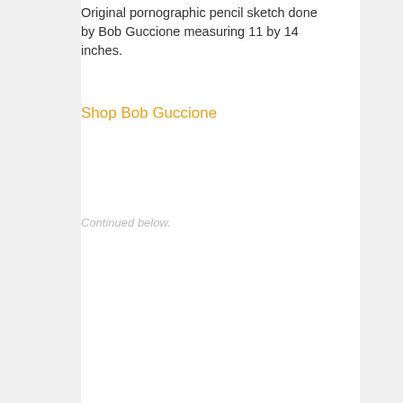Original pornographic pencil sketch done by Bob Guccione measuring 11 by 14 inches.
Shop Bob Guccione
Continued below.